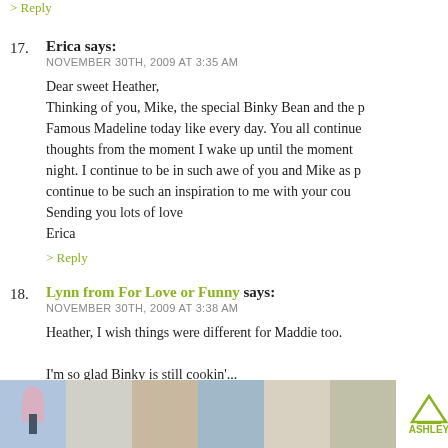> Reply
17. Erica says: NOVEMBER 30TH, 2009 AT 3:35 AM
Dear sweet Heather,
Thinking of you, Mike, the special Binky Bean and the p... Famous Madeline today like every day. You all continue... thoughts from the moment I wake up until the moment... night. I continue to be in such awe of you and Mike as p... continue to be such an inspiration to me with your cou...
Sending you lots of love
Erica
> Reply
18. Lynn from For Love or Funny says: NOVEMBER 30TH, 2009 AT 3:38 AM
Heather, I wish things were different for Maddie too.
I'm so glad Binky is still cookin'...
[Figure (screenshot): Advertisement bar at bottom showing furniture images from Ashley furniture store]